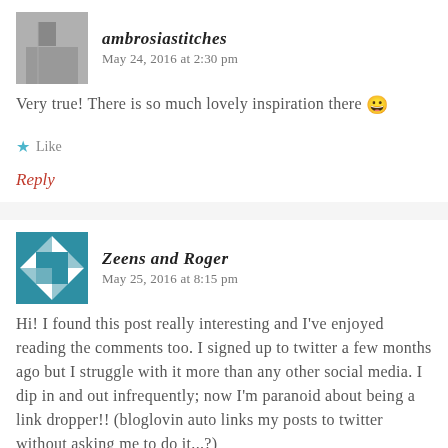ambrosiastitches   May 24, 2016 at 2:30 pm
Very true! There is so much lovely inspiration there 😀
Like
Reply
Zeens and Roger   May 25, 2016 at 8:15 pm
Hi! I found this post really interesting and I've enjoyed reading the comments too. I signed up to twitter a few months ago but I struggle with it more than any other social media. I dip in and out infrequently; now I'm paranoid about being a link dropper!! (bloglovin auto links my posts to twitter without asking me to do it...?)